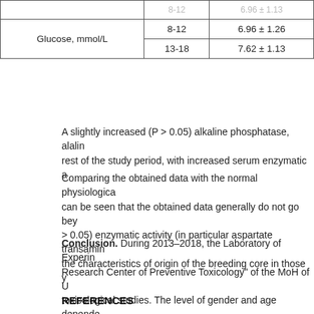|  |  |  |
| --- | --- | --- |
|  |  |  |
| Glucose, mmol/L | 8-12 | 6.96 ± 1.26 |
| Glucose, mmol/L | 13-18 | 7.62 ± 1.13 |
A slightly increased (P > 0.05) alkaline phosphatase, alanine... rest of the study period, with increased serum enzymatic a...
Comparing the obtained data with the normal physiological... can be seen that the obtained data generally do not go bey... > 0.05) enzymatic activity (in particular aspartate transamin... the characteristics of origin of the breeding core in those y...
Conclusion. During 2013–2018, the Laboratory of Experin... Research Center of Preventive Toxicology" of the MoH of U... toxicological studies. The level of gender and age depende... were established by years. Created historical control can b... help to perform an objective interpretation of obtained seru... the significance of data for justification of hygienic parame...
REFERENCES